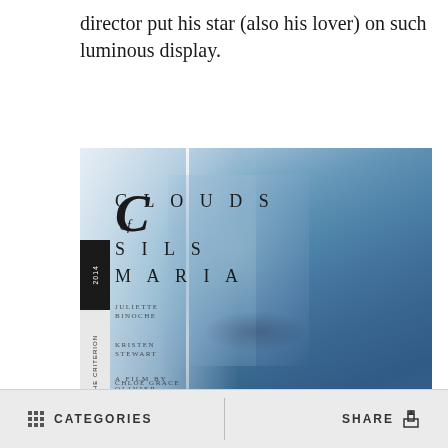director put his star (also his lover) on such luminous display.
[Figure (photo): Criterion Collection DVD/Blu-ray cover for 'Clouds of Sils Maria' (2014), showing overlapping faces of three women against a blue-grey misty background. The Criterion 'C' logo appears top left. Cast names listed: Juliette Binoche, Kristen Stewart, Chloë Grace Moretz. Title reads 'CLOUDS of SILS MARIA'. Side spine tabs show '2014' and 'THE CRITERION'. Bottom text: 'A FILM BY OLIVIER'.]
CATEGORIES    SHARE